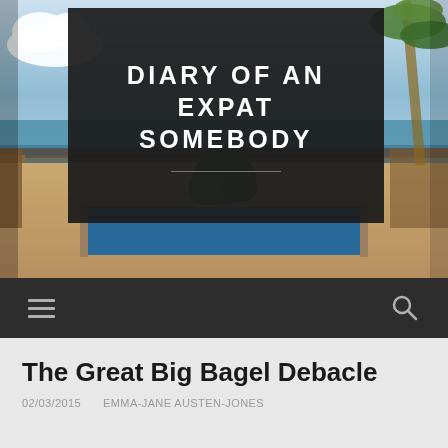[Figure (photo): Blog header photograph showing a tropical terrace with an infinity pool overlooking the ocean, with palm trees and blue sky in the background. A large dark semi-transparent overlay box contains the blog title.]
DIARY OF AN EXPAT SOMEBODY
[Figure (screenshot): Navigation bar with hamburger menu icon on the left and search icon on the right, on a dark background.]
The Great Big Bagel Debacle
02/03/2015    EMMA-JANE AUSTEN-JONES